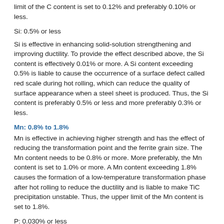limit of the C content is set to 0.12% and preferably 0.10% or less.
Si: 0.5% or less
Si is effective in enhancing solid-solution strengthening and improving ductility. To provide the effect described above, the Si content is effectively 0.01% or more. A Si content exceeding 0.5% is liable to cause the occurrence of a surface defect called red scale during hot rolling, which can reduce the quality of surface appearance when a steel sheet is produced. Thus, the Si content is preferably 0.5% or less and more preferably 0.3% or less.
Mn: 0.8% to 1.8%
Mn is effective in achieving higher strength and has the effect of reducing the transformation point and the ferrite grain size. The Mn content needs to be 0.8% or more. More preferably, the Mn content is set to 1.0% or more. A Mn content exceeding 1.8% causes the formation of a low-temperature transformation phase after hot rolling to reduce the ductility and is liable to make TiC precipitation unstable. Thus, the upper limit of the Mn content is set to 1.8%.
P: 0.030% or less
P is an element effective for solid-solution strengthening. P also has the effect of reducing scale defects due to Si. An excessive P content more than 0.030%, however, is liable to cause the segregation of P into grain